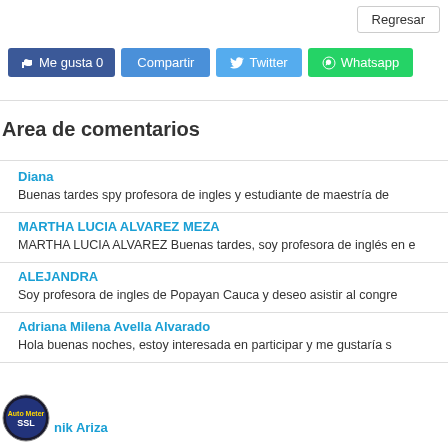[Figure (other): Regresar button (back navigation)]
[Figure (other): Social sharing buttons: Me gusta 0, Compartir, Twitter, Whatsapp]
Area de comentarios
Diana
Buenas tardes spy profesora de ingles y estudiante de maestría de
MARTHA LUCIA ALVAREZ MEZA
MARTHA LUCIA ALVAREZ Buenas tardes, soy profesora de inglés en e
ALEJANDRA
Soy profesora de ingles de Popayan Cauca y deseo asistir al congre
Adriana Milena Avella Alvarado
Hola buenas noches, estoy interesada en participar y me gustaría s
nik Ariza